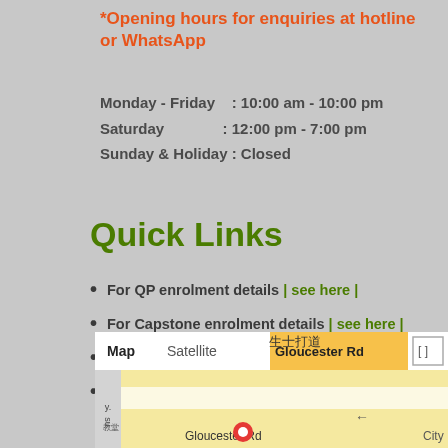*Opening hours for enquiries at hotline or WhatsApp
Monday - Friday   : 10:00 am - 10:00 pm
Saturday            : 12:00 pm - 7:00 pm
Sunday & Holiday : Closed
Quick Links
For QP enrolment details | see here |
For Capstone enrolment details | see here |
For Missed Class arrangement | see here |
For bad weather arrangement | see here |
[Figure (map): Google Maps widget showing Gloucester Road area with Map/Satellite toggle, Chinese street label 生士打道, and map view]